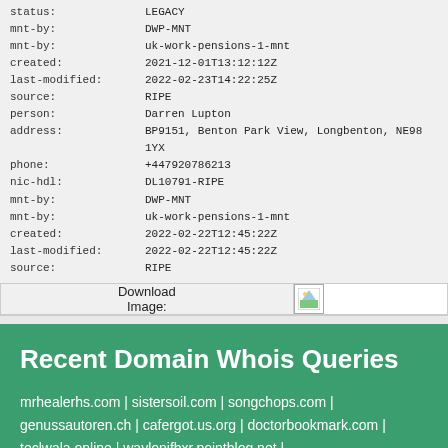| Field | Value |
| --- | --- |
| status: | LEGACY |
| mnt-by: | DWP-MNT |
| mnt-by: | uk-work-pensions-1-mnt |
| created: | 2021-12-01T13:12:12Z |
| last-modified: | 2022-02-23T14:22:25Z |
| source: | RIPE |
| person: | Darren Lupton |
| address: | BP9151,  Benton Park View,  Longbenton, NE98 1YX |
| phone: | +447920786213 |
| nic-hdl: | DL10791-RIPE |
| mnt-by: | DWP-MNT |
| mnt-by: | uk-work-pensions-1-mnt |
| created: | 2022-02-22T12:45:22Z |
| last-modified: | 2022-02-22T12:45:22Z |
| source: | RIPE |
| Download Image: | (image) |
Recent Domain Whois Queries
mrhealerhs.com | sistersoil.com | songchops.com | genussautoren.ch | cafergot.us.org | doctorbookmark.com | teclwala.online | waylonjfbxr.pointblog.net | verpelis24pelicula.news.blog | lillu.ru | emilyh621asl8.blogofchange.com | zenaps.com | ftb.800steamer.net |